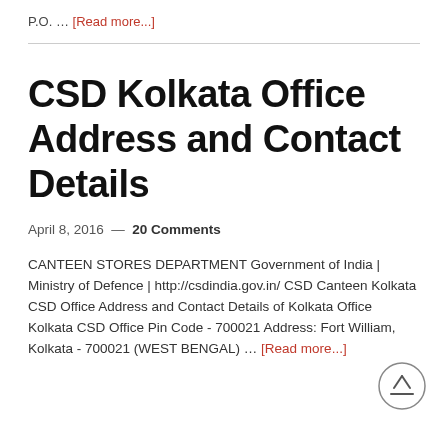P.O. … [Read more...]
CSD Kolkata Office Address and Contact Details
April 8, 2016  —  20 Comments
CANTEEN STORES DEPARTMENT Government of India | Ministry of Defence | http://csdindia.gov.in/ CSD Canteen Kolkata CSD Office Address and Contact Details of Kolkata Office Kolkata CSD Office Pin Code - 700021 Address: Fort William, Kolkata - 700021 (WEST BENGAL) … [Read more...]